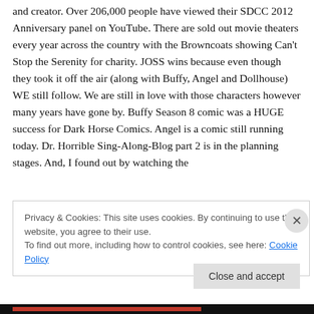and creator. Over 206,000 people have viewed their SDCC 2012 Anniversary panel on YouTube. There are sold out movie theaters every year across the country with the Browncoats showing Can't Stop the Serenity for charity. JOSS wins because even though they took it off the air (along with Buffy, Angel and Dollhouse) WE still follow. We are still in love with those characters however many years have gone by. Buffy Season 8 comic was a HUGE success for Dark Horse Comics. Angel is a comic still running today. Dr. Horrible Sing-Along-Blog part 2 is in the planning stages. And, I found out by watching the
Privacy & Cookies: This site uses cookies. By continuing to use this website, you agree to their use.
To find out more, including how to control cookies, see here: Cookie Policy
Close and accept